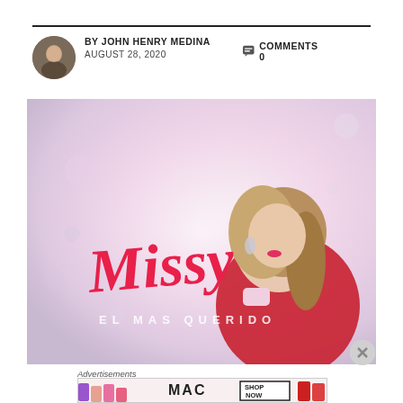BY JOHN HENRY MEDINA  COMMENTS 0
AUGUST 28, 2020
[Figure (photo): Music single cover art for 'Missy - El Mas Querido'. Shows a woman with long curly blonde/brown hair wearing a red off-shoulder dress with diamond earrings, looking upward. The text 'Missy' is in large pink cursive script, and 'EL MAS QUERIDO' in white spaced letters below.]
Advertisements
[Figure (photo): MAC cosmetics advertisement banner showing lipsticks in purple, pink and red colors, with MAC logo and 'SHOP NOW' button.]